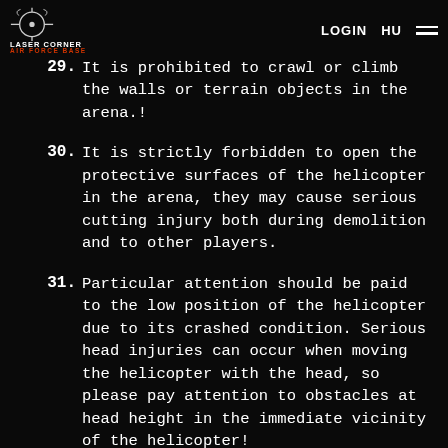LASER CORNER AIR FORCE BASE | LOGIN | HU
29. It is prohibited to crawl or climb the walls or terrain objects in the arena.!
30. It is strictly forbidden to open the protective surfaces of the helicopter in the arena, they may cause serious cutting injury both during demolition and to other players.
31. Particular attention should be paid to the low position of the helicopter due to its crashed condition. Serious head injuries can occur when moving the helicopter with the head, so please pay attention to obstacles at head height in the immediate vicinity of the helicopter!
32. It is forbidden to remove or cover the vest and the gun during the playing time in the arena.